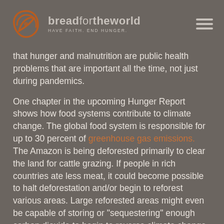bread for the world — HAVE FAITH. END HUNGER.
that hunger and malnutrition are public health problems that are important all the time, not just during pandemics.
One chapter in the upcoming Hunger Report shows how food systems contribute to climate change. The global food system is responsible for up to 30 percent of greenhouse gas emissions. The Amazon is being deforested primarily to clear the land for cattle grazing. If people in rich countries ate less meat, it could become possible to halt deforestation and/or begin to reforest various areas. Large reforested areas might even be capable of storing or “sequestering” enough carbon dioxide to begin to reverse climate change. The key is in adapting Western-style diets to promote both health and sustainability.